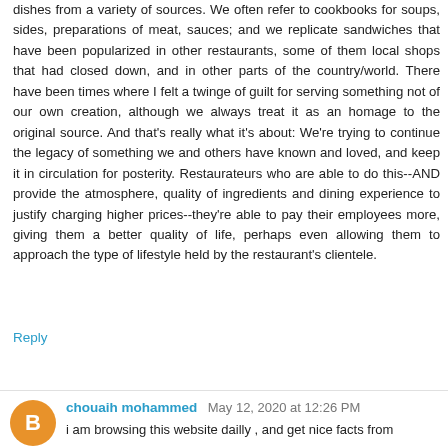dishes from a variety of sources. We often refer to cookbooks for soups, sides, preparations of meat, sauces; and we replicate sandwiches that have been popularized in other restaurants, some of them local shops that had closed down, and in other parts of the country/world. There have been times where I felt a twinge of guilt for serving something not of our own creation, although we always treat it as an homage to the original source. And that's really what it's about: We're trying to continue the legacy of something we and others have known and loved, and keep it in circulation for posterity. Restaurateurs who are able to do this--AND provide the atmosphere, quality of ingredients and dining experience to justify charging higher prices--they're able to pay their employees more, giving them a better quality of life, perhaps even allowing them to approach the type of lifestyle held by the restaurant's clientele.
Reply
chouaih mohammed May 12, 2020 at 12:26 PM
i am browsing this website dailly , and get nice facts from